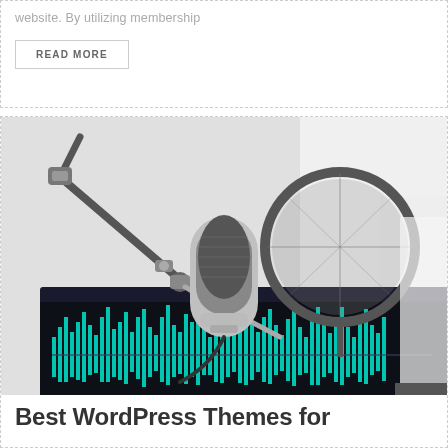website. By utilizing membership
READ MORE
[Figure (photo): A podcasting microphone setup with a pop filter shield and an audio editing software waveform visible on a monitor screen in the background]
Best WordPress Themes for Podcast Websites